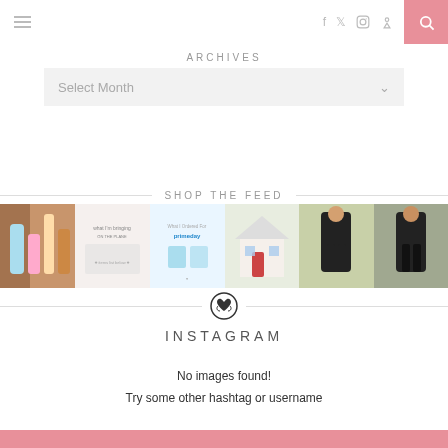≡  f  twitter  instagram  pinterest  🔍
ARCHIVES
Select Month
SHOP THE FEED
[Figure (photo): Six Instagram feed image thumbnails in a horizontal strip: beauty products, 'what I'm bringing on the plane' graphic, Prime Day order graphic, a playhouse, a woman in black outfit outdoors, a woman in black crop top outdoors]
INSTAGRAM
No images found!
Try some other hashtag or username